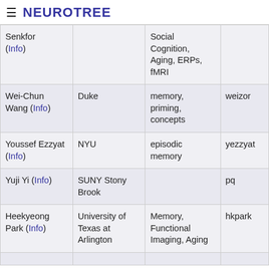≡ NEUROTREE
| Name | Institution | Area | Username |
| --- | --- | --- | --- |
| Senkfor (Info) |  | Social Cognition, Aging, ERPs, fMRI |  |
| Wei-Chun Wang (Info) | Duke | memory, priming, concepts | weizor |
| Youssef Ezzyat (Info) | NYU | episodic memory | yezzyat |
| Yuji Yi (Info) | SUNY Stony Brook |  | pq |
| Heekyeong Park (Info) | University of Texas at Arlington | Memory, Functional Imaging, Aging | hkpark |